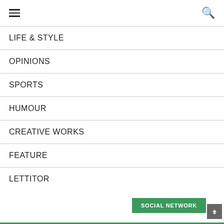Navigation menu with hamburger icon and search icon
LIFE & STYLE
OPINIONS
SPORTS
HUMOUR
CREATIVE WORKS
FEATURE
LETTITOR
SOCIAL NETWORK